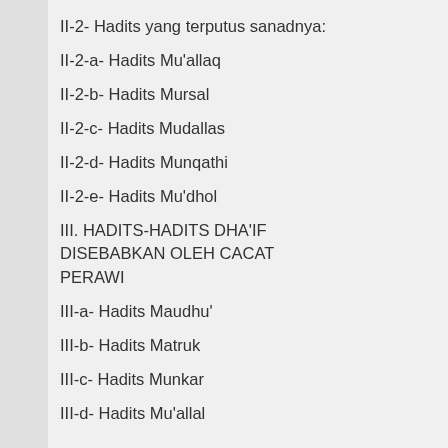II-2- Hadits yang terputus sanadnya:
II-2-a- Hadits Mu'allaq
II-2-b- Hadits Mursal
II-2-c- Hadits Mudallas
II-2-d- Hadits Munqathi
II-2-e- Hadits Mu'dhol
III. HADITS-HADITS DHA'IF DISEBABKAN OLEH CACAT PERAWI
III-a- Hadits Maudhu'
III-b- Hadits Matruk
III-c- Hadits Munkar
III-d- Hadits Mu'allal